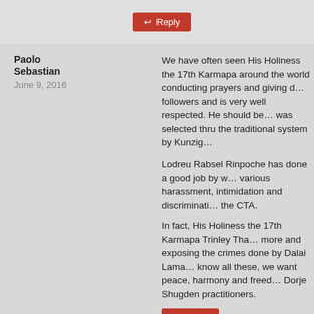Reply (button)
Paolo Sebastian
June 9, 2016
We have often seen His Holiness the 17th Karmapa around the world conducting prayers and giving d… followers and is very well respected. He should be… was selected thru the traditional system by Kunzig…

Lodreu Rabsel Rinpoche has done a good job by w… various harassment, intimidation and discriminati… the CTA.

In fact, His Holiness the 17th Karmapa Trinley Tha… more and exposing the crimes done by Dalai Lama… know all these, we want peace, harmony and freed… Dorje Shugden practitioners.
Reply (button)
Anonymous
March 19, 2019